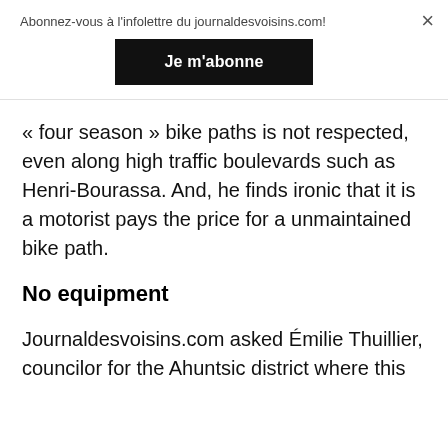Abonnez-vous à l'infolettre du journaldesvoisins.com!
Je m'abonne
« four season » bike paths is not respected, even along high traffic boulevards such as Henri-Bourassa. And, he finds ironic that it is a motorist pays the price for a unmaintained bike path.
No equipment
Journaldesvoisins.com asked Émilie Thuillier, councilor for the Ahuntsic district where this